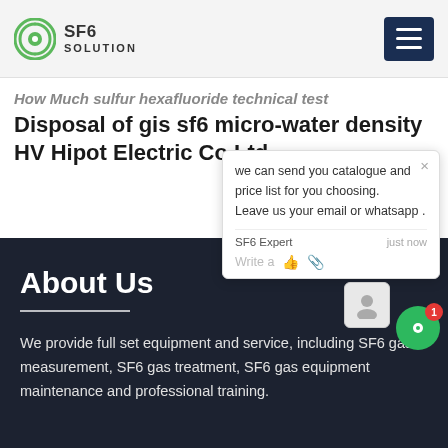SF6 SOLUTION
How Much sulfur hexafluoride technical test Disposal of gis sf6 micro-water density HV Hipot Electric Co Ltd
[Figure (screenshot): Chat popup widget showing message: we can send you catalogue and price list for you choosing. Leave us your email or whatsapp . SF6 Expert  just now  Write a [thumbsup] [paperclip]]
About Us
We provide full set equipment and service, including SF6 gas measurement, SF6 gas treatment, SF6 gas equipment maintenance and professional training.